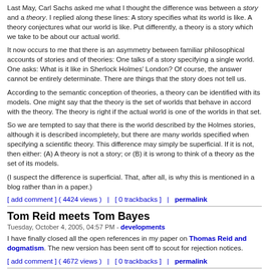Last May, Carl Sachs asked me what I thought the difference was between a story and a theory. I replied along these lines: A story specifies what its world is like. A theory conjectures what our world is like. Put differently, a theory is a story which we take to be about our actual world.
It now occurs to me that there is an asymmetry between familiar philosophical accounts of stories and of theories: One talks of a story specifying a single world. One asks: What is it like in Sherlock Holmes' London? Of course, the answer cannot be entirely determinate. There are things that the story does not tell us.
According to the semantic conception of theories, a theory can be identified with its models. One might say that the theory is the set of worlds that behave in accord with the theory. The theory is right if the actual world is one of the worlds in that set.
So we are tempted to say that there is the world described by the Holmes stories, although it is described incompletely, but there are many worlds specified when specifying a scientific theory. This difference may simply be superficial. If it is not, then either: (A) A theory is not a story; or (B) it is wrong to think of a theory as the set of its models.
(I suspect the difference is superficial. That, after all, is why this is mentioned in a blog rather than in a paper.)
[ add comment ] ( 4424 views )   |   [ 0 trackbacks ]   |   permalink
Tom Reid meets Tom Bayes
Tuesday, October 4, 2005, 04:57 PM - developments
I have finally closed all the open references in my paper on Thomas Reid and dogmatism. The new version has been sent off to scout for rejection notices.
[ add comment ] ( 4672 views )   |   [ 0 trackbacks ]   |   permalink
<<First <Back | 74 | 75 | 76 | 77 | 78 | 79 | 80 | 81 | 82 | 83 |